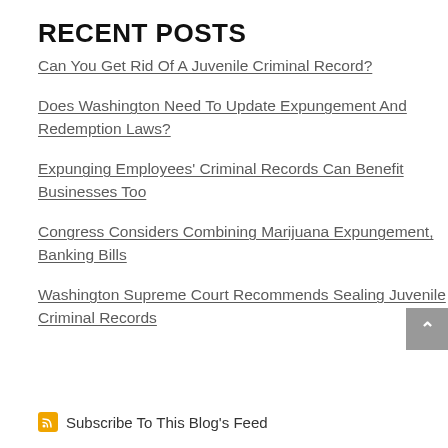RECENT POSTS
Can You Get Rid Of A Juvenile Criminal Record?
Does Washington Need To Update Expungement And Redemption Laws?
Expunging Employees' Criminal Records Can Benefit Businesses Too
Congress Considers Combining Marijuana Expungement, Banking Bills
Washington Supreme Court Recommends Sealing Juvenile Criminal Records
Subscribe To This Blog's Feed